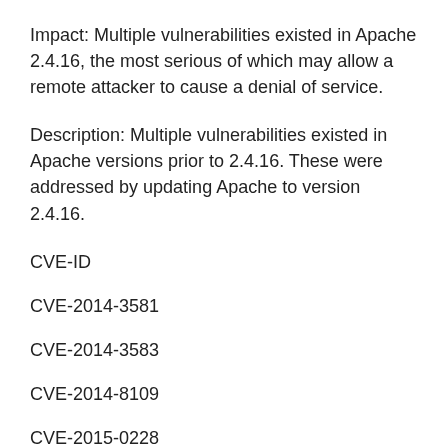Impact: Multiple vulnerabilities existed in Apache 2.4.16, the most serious of which may allow a remote attacker to cause a denial of service.
Description: Multiple vulnerabilities existed in Apache versions prior to 2.4.16. These were addressed by updating Apache to version 2.4.16.
CVE-ID
CVE-2014-3581
CVE-2014-3583
CVE-2014-8109
CVE-2015-0228
CVE-2015-0253
CVE-2015-3183